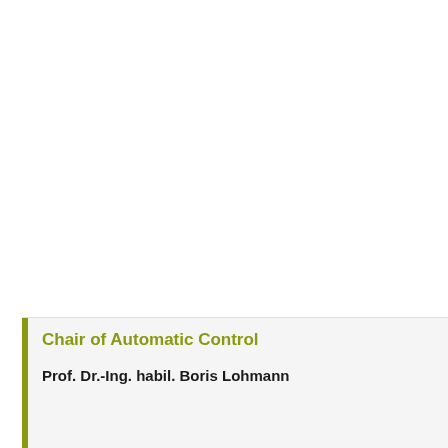Chair of Automatic Control
Prof. Dr.-Ing. habil. Boris Lohmann